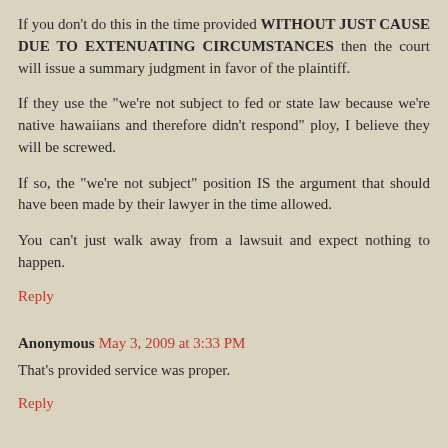If you don't do this in the time provided WITHOUT JUST CAUSE DUE TO EXTENUATING CIRCUMSTANCES then the court will issue a summary judgment in favor of the plaintiff.
If they use the "we're not subject to fed or state law because we're native hawaiians and therefore didn't respond" ploy, I believe they will be screwed.
If so, the "we're not subject" position IS the argument that should have been made by their lawyer in the time allowed.
You can't just walk away from a lawsuit and expect nothing to happen.
Reply
Anonymous May 3, 2009 at 3:33 PM
That's provided service was proper.
Reply